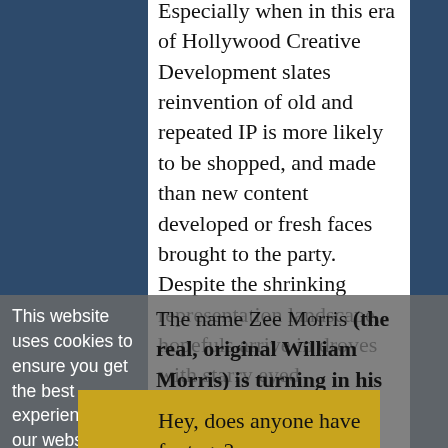Especially when in this era of Hollywood Creative Development slates reinvention of old and repeated IP is more likely to be shopped, and made than new content developed or fresh faces brought to the party. Despite the shrinking representation landscape, hopefuls arrive in droves with starry eyed fascinations of stardom.
This website uses cookies to ensure you get the best experience on our website.
The name Zee Morris (the real, original William Morris) is turning in his grave.
Got it!
Hey, does anyone have footage? We can sell it to Netflix as a